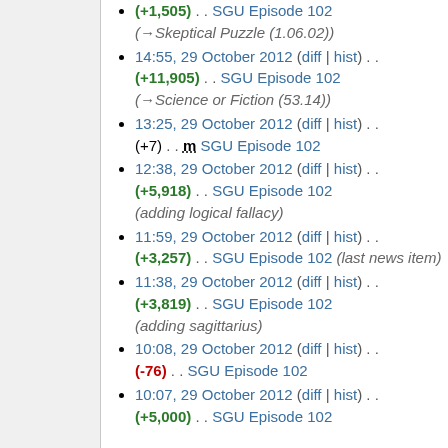(+1,505) . . SGU Episode 102 (→Skeptical Puzzle (1.06.02))
14:55, 29 October 2012 (diff | hist) . . (+11,905) . . SGU Episode 102 (→Science or Fiction (53.14))
13:25, 29 October 2012 (diff | hist) . . (+7) . . m SGU Episode 102
12:38, 29 October 2012 (diff | hist) . . (+5,918) . . SGU Episode 102 (adding logical fallacy)
11:59, 29 October 2012 (diff | hist) . . (+3,257) . . SGU Episode 102 (last news item)
11:38, 29 October 2012 (diff | hist) . . (+3,819) . . SGU Episode 102 (adding sagittarius)
10:08, 29 October 2012 (diff | hist) . . (-76) . . SGU Episode 102
10:07, 29 October 2012 (diff | hist) . . (+5,000) . . SGU Episode 102